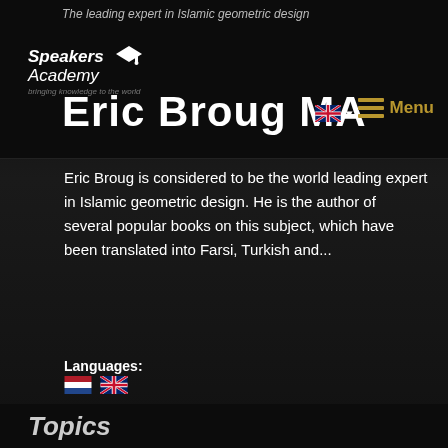The leading expert in Islamic geometric design
Eric Broug MA
Eric Broug is considered to be the world leading expert in Islamic geometric design. He is the author of several popular books on this subject, which have been translated into Farsi, Turkish and...
Languages:
Employability:
Keynote Speaker Workshop
This website uses cookies to ensure you get the best experience on our website.
Read more
Close
Topics